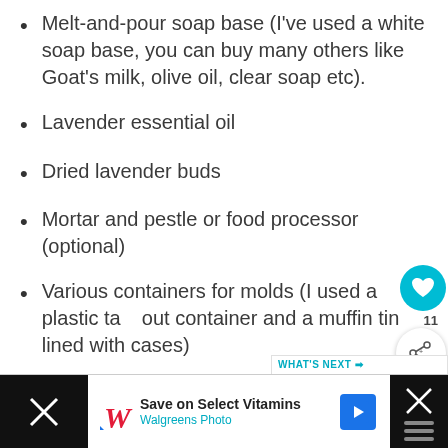Melt-and-pour soap base (I've used a white soap base, you can buy many others like Goat's milk, olive oil, clear soap etc).
Lavender essential oil
Dried lavender buds
Mortar and pestle or food processor (optional)
Various containers for molds (I used a plastic take out container and a muffin tin lined with cases)
Cutting board and knife
Microwave safe jug, or glass bowl and
Brown paper, rafia, other decorative paper to
[Figure (infographic): UI overlay with heart/like button showing teal circle with heart icon, count of 11, and share button circle]
[Figure (infographic): What's Next banner showing Easy Lavender Crafts with a lavender bud thumbnail image]
[Figure (infographic): Walgreens advertisement bar: Save on Select Vitamins, Walgreens Photo, with logo and navigation arrow]